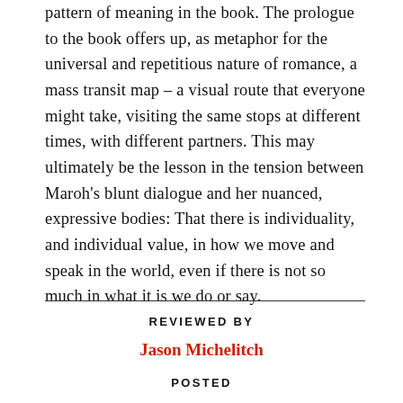pattern of meaning in the book. The prologue to the book offers up, as metaphor for the universal and repetitious nature of romance, a mass transit map – a visual route that everyone might take, visiting the same stops at different times, with different partners. This may ultimately be the lesson in the tension between Maroh's blunt dialogue and her nuanced, expressive bodies: That there is individuality, and individual value, in how we move and speak in the world, even if there is not so much in what it is we do or say.
REVIEWED BY
Jason Michelitch
POSTED